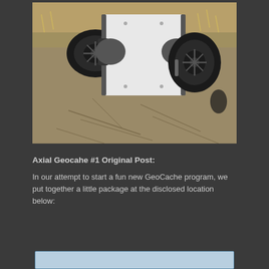[Figure (photo): Aerial/top-down view of a white RC off-road vehicle (resembling a Land Rover Defender) with large black knobby tires, climbing over dry cracked rock terrain. The vehicle is shown from above, highlighting its four oversized all-terrain tires and white body.]
Axial Geocahe #1 Original Post:
In our attempt to start a fun new GeoCache program, we put together a little package at the disclosed location below: